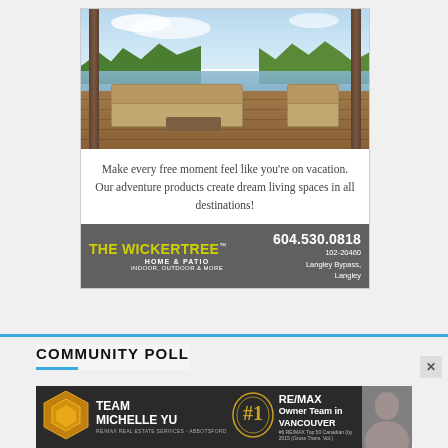[Figure (photo): Outdoor patio furniture set with sectional sofa and armchair on a wooden deck overlooking a scenic lake and mountains]
Make every free moment feel like you're on vacation. Our adventure products create dream living spaces in all destinations!
THE WICKERTREE™ HOME & PATIO INDOOR, OUTDOOR & MORE   604.530.0818  102-20460 Langley Bypass, Langley
COMMUNITY POLL
[Figure (photo): Team Michelle Yu banner ad - RE/MAX Owner Team in Vancouver, #1 award badge]